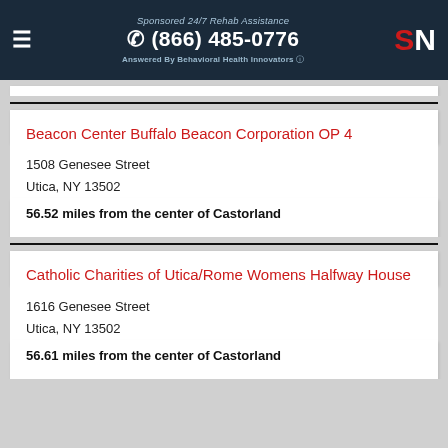Sponsored 24/7 Rehab Assistance | (866) 485-0776 | Answered By Behavioral Health Innovators | SN
Beacon Center Buffalo Beacon Corporation OP 4
1508 Genesee Street
Utica, NY 13502
56.52 miles from the center of Castorland
Catholic Charities of Utica/Rome Womens Halfway House
1616 Genesee Street
Utica, NY 13502
56.61 miles from the center of Castorland